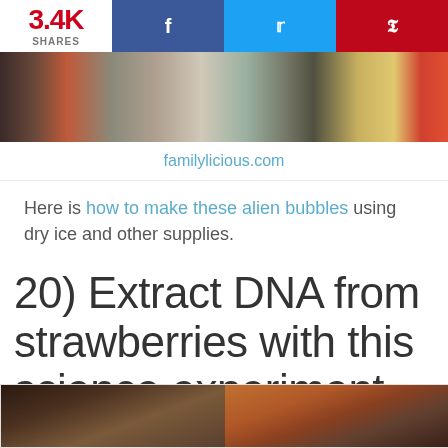3.4K SHARES | Facebook | Twitter | Pinterest
[Figure (photo): Photo strip showing hands, jars and science experiment supplies on a table]
familylicious.com
Here is how to make these alien bubbles using dry ice and other supplies.
20) Extract DNA from strawberries with this science experiment.
[Figure (photo): Two photos showing strawberry DNA extraction science experiment]